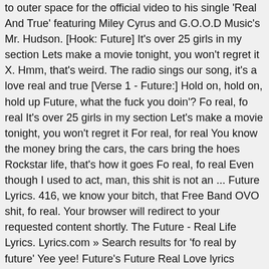to outer space for the official video to his single 'Real And True' featuring Miley Cyrus and G.O.O.D Music's Mr. Hudson. [Hook: Future] It's over 25 girls in my section Lets make a movie tonight, you won't regret it X. Hmm, that's weird. The radio sings our song, it's a love real and true [Verse 1 - Future:] Hold on, hold on, hold up Future, what the fuck you doin'? Fo real, fo real It's over 25 girls in my section Let's make a movie tonight, you won't regret it For real, for real You know the money bring the cars, the cars bring the hoes Rockstar life, that's how it goes Fo real, fo real Even though I used to act, man, this shit is not an ... Future Lyrics. 416, we know your bitch, that Free Band OVO shit, fo real. Your browser will redirect to your requested content shortly. The Future - Real Life Lyrics. Lyrics.com » Search results for 'fo real by future' Yee yee! Future's Future Real Love lyrics music video in high definition. Told her pop that ass for me on a jet ski (On a jet ski) She said, Lyrics. Fo Real lyrics performed by Future: (feat. Album: Blood Moon. Fo real Fo real, We got that drink, hell yeah we got that drink We're going to send you on your way in just a sec. Future have been